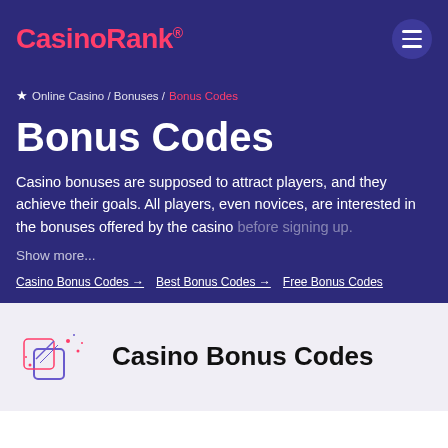CasinoRank®
★ Online Casino / Bonuses / Bonus Codes
Bonus Codes
Casino bonuses are supposed to attract players, and they achieve their goals. All players, even novices, are interested in the bonuses offered by the casino before signing up.
Show more...
Casino Bonus Codes → Best Bonus Codes → Free Bonus Codes →
Casino Bonus Codes